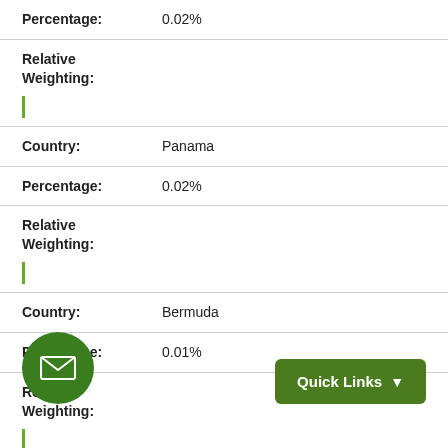Percentage: 0.02%
Relative Weighting:
Country: Panama
Percentage: 0.02%
Relative Weighting:
Country: Bermuda
Percentage: 0.01%
Relative Weighting:
Country: Kazakhstan